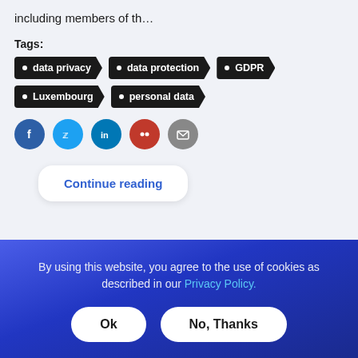including members of th...
Tags:
data privacy
data protection
GDPR
Luxembourg
personal data
Continue reading
By using this website, you agree to the use of cookies as described in our Privacy Policy.
Ok
No, Thanks